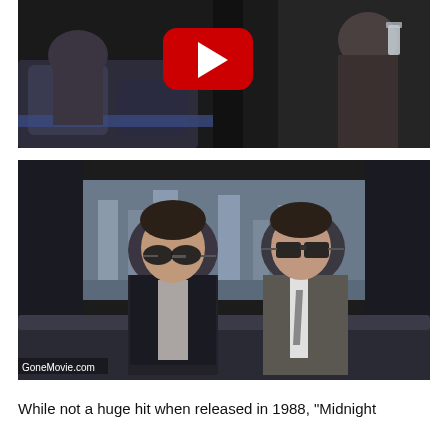[Figure (screenshot): Movie scene screenshot showing two men seated in what appears to be a theater or cinema, with a YouTube play button overlay in the center top area. Dark and moody lighting.]
[Figure (screenshot): Movie still from Midnight Run (1988) showing two men with sunglasses sitting in the backseat of a car. Watermark reads GoneMovie.com.]
While not a huge hit when released in 1988, "Midnight